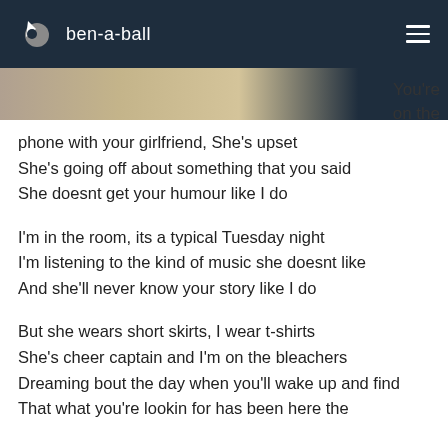ben-a-ball
[Figure (photo): Partial image strip visible at the top of the content area, partially cut off]
You're on the phone with your girlfriend, She's upset She's going off about something that you said She doesnt get your humour like I do
I'm in the room, its a typical Tuesday night I'm listening to the kind of music she doesnt like And she'll never know your story like I do
But she wears short skirts, I wear t-shirts She's cheer captain and I'm on the bleachers Dreaming bout the day when you'll wake up and find That what you're lookin for has been here the